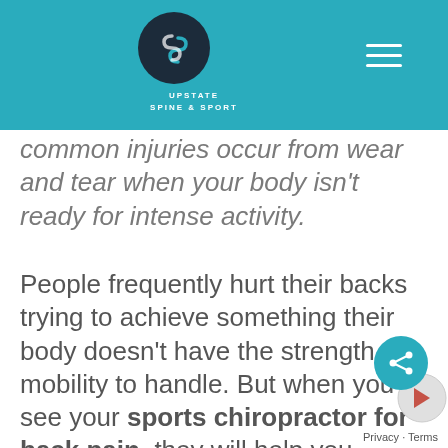Upstate Spine & Sport
common injuries occur from wear and tear when your body isn't ready for intense activity.
People frequently hurt their backs trying to achieve something their body doesn't have the strength or mobility to handle. But when you see your sports chiropractor for back pain, they will help you achieve your full range of motion so those minor, wear-and-tear type injuries don't happen as often.
When you visit Upstate Spine &